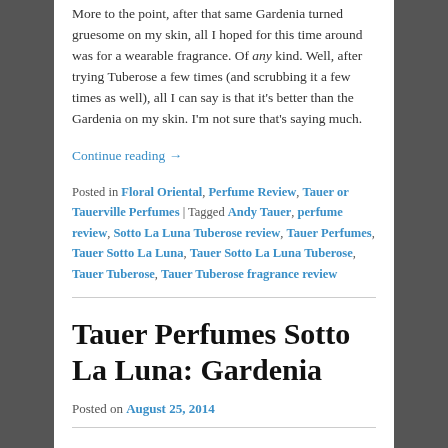More to the point, after that same Gardenia turned gruesome on my skin, all I hoped for this time around was for a wearable fragrance. Of any kind. Well, after trying Tuberose a few times (and scrubbing it a few times as well), all I can say is that it's better than the Gardenia on my skin. I'm not sure that's saying much.
Continue reading →
Posted in Floral Oriental, Perfume Review, Tauer or Tauerville Perfumes | Tagged Andy Tauer, perfume review, Sotto La Luna Tuberose review, Tauer Perfumes, Tauer Sotto La Luna, Tauer Sotto La Luna Tuberose, Tauer Tuberose, Tauer Tuberose fragrance review
Tauer Perfumes Sotto La Luna: Gardenia
Posted on August 25, 2014